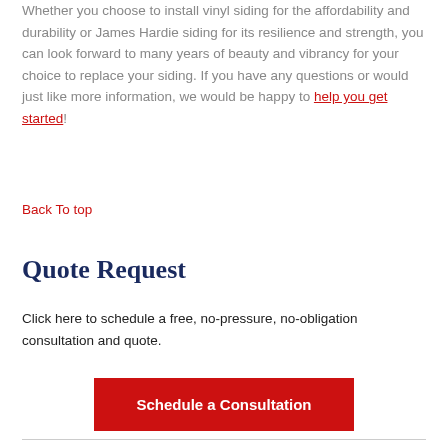Whether you choose to install vinyl siding for the affordability and durability or James Hardie siding for its resilience and strength, you can look forward to many years of beauty and vibrancy for your choice to replace your siding. If you have any questions or would just like more information, we would be happy to help you get started!
Back To top
Quote Request
Click here to schedule a free, no-pressure, no-obligation consultation and quote.
Schedule a Consultation